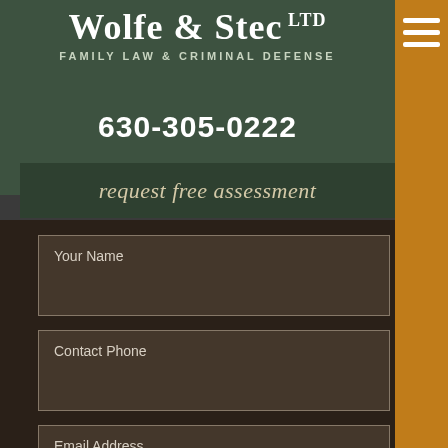[Figure (logo): Wolfe & Stec LTD logo with text 'FAMILY LAW & CRIMINAL DEFENSE' on dark green background]
630-305-0222
request free assessment
Your Name
Contact Phone
Email Address